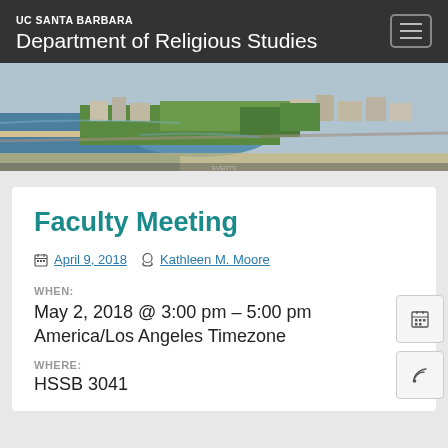UC SANTA BARBARA
Department of Religious Studies
[Figure (photo): Aerial photograph of UC Santa Barbara campus showing coastline, lagoon, green fields, buildings and beach]
Faculty Meeting
April 9, 2018   Kathleen M. Moore
WHEN:
May 2, 2018 @ 3:00 pm – 5:00 pm
America/Los Angeles Timezone
WHERE:
HSSB 3041